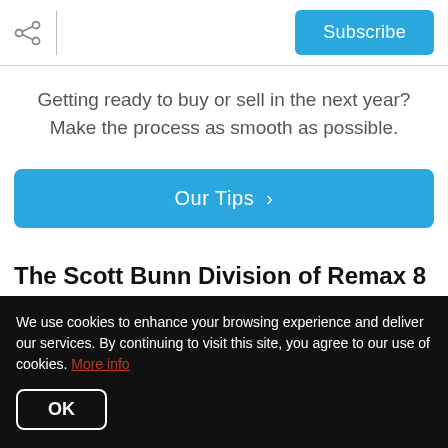Subscribe
Getting ready to buy or sell in the next year? Make the process as smooth as possible.
Our Tips >
The Scott Bunn Division of Remax 8
Client Success Stories
We use cookies to enhance your browsing experience and deliver our services. By continuing to visit this site, you agree to our use of cookies. More info
OK